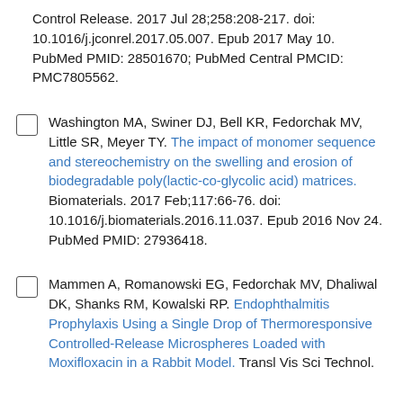Control Release. 2017 Jul 28;258:208-217. doi: 10.1016/j.jconrel.2017.05.007. Epub 2017 May 10. PubMed PMID: 28501670; PubMed Central PMCID: PMC7805562.
Washington MA, Swiner DJ, Bell KR, Fedorchak MV, Little SR, Meyer TY. The impact of monomer sequence and stereochemistry on the swelling and erosion of biodegradable poly(lactic-co-glycolic acid) matrices. Biomaterials. 2017 Feb;117:66-76. doi: 10.1016/j.biomaterials.2016.11.037. Epub 2016 Nov 24. PubMed PMID: 27936418.
Mammen A, Romanowski EG, Fedorchak MV, Dhaliwal DK, Shanks RM, Kowalski RP. Endophthalmitis Prophylaxis Using a Single Drop of Thermoresponsive Controlled-Release Microspheres Loaded with Moxifloxacin in a Rabbit Model. Transl Vis Sci Technol.